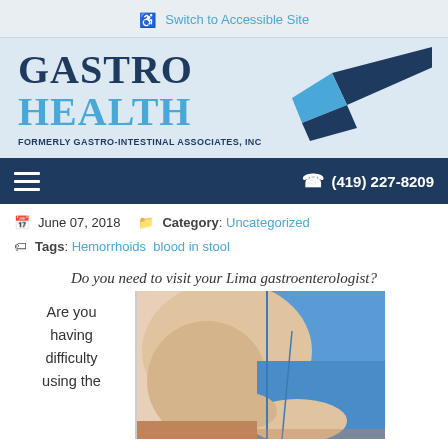Switch to Accessible Site
[Figure (logo): Gastro Health logo with checkmark — formerly Gastro-Intestinal Associates, Inc]
(419) 227-8209
June 07, 2018   Category: Uncategorized
Tags: Hemorrhoids  blood in stool
Do you need to visit your Lima gastroenterologist?
Are you having difficulty using the